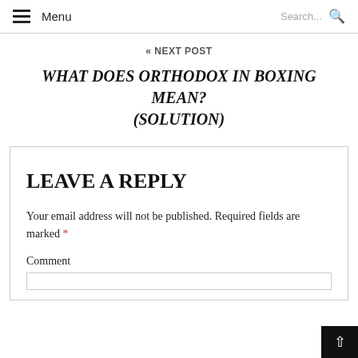Menu | Search...
« NEXT POST
WHAT DOES ORTHODOX IN BOXING MEAN? (SOLUTION)
LEAVE A REPLY
Your email address will not be published. Required fields are marked *
Comment